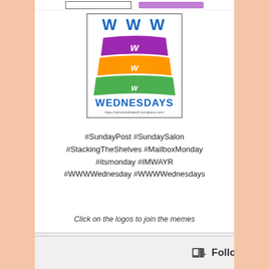[Figure (logo): WWW Wednesdays logo showing stacked colorful books with W letters and text WEDNESDAYS in blue, with URL https://sammandizabeth.wordpress.com/]
#SundayPost #SundaySalon #StackingTheShelves #MailboxMonday #itsmonday #IMWAYR #WWWWednesday #WWWWednesdays
Click on the logos to join the memes
Here is what I posted this past week.
I have not posted daily for #ParisinJuly this week.
Advertisements